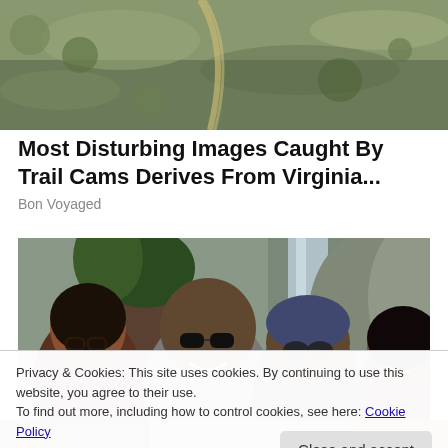[Figure (photo): Aerial/nature trail cam image showing rocky terrain with path]
Most Disturbing Images Caught By Trail Cams Derives From Virginia...
Bon Voyaged
[Figure (photo): Four people smiling outdoors near waterfall and rocky cliffs, sunglasses, nature background]
Privacy & Cookies: This site uses cookies. By continuing to use this website, you agree to their use.
To find out more, including how to control cookies, see here: Cookie Policy
Close and accept